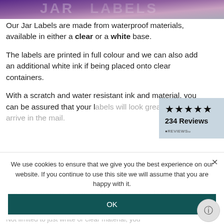[Figure (photo): Top banner image showing jar labels with purple/violet design]
Our Jar Labels are made from waterproof materials, available in either a clear or a white base.
The labels are printed in full colour and we can also add an additional white ink if being placed onto clear containers.
[Figure (infographic): Reviews widget showing 5 stars and 234 Reviews from Reviews.io]
With a scratch and water resistant ink and material, you can be assured that your labels will look great when they arrive in the mail.
We use cookies to ensure that we give you the best experience on our website. If you continue to use this site we will assume that you are happy with it.
OK
We also produce a matt and gloss finish in both the white and clear material, so you can
Not limited to just white or clear material, you